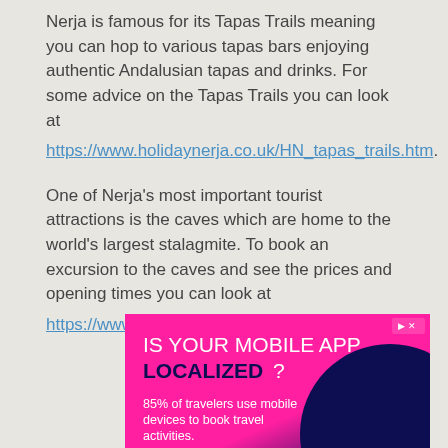Nerja is famous for its Tapas Trails meaning you can hop to various tapas bars enjoying authentic Andalusian tapas and drinks. For some advice on the Tapas Trails you can look at https://www.holidaynerja.co.uk/HN_tapas_trails.htm.
One of Nerja's most important tourist attractions is the caves which are home to the world's largest stalagmite. To book an excursion to the caves and see the prices and opening times you can look at https://www.cuevadenerja.es/
[Figure (other): Advertisement banner: 'IS YOUR MOBILE APP LOCALIZED?' with text '85% of travelers use mobile devices to book travel activities.' Pink and dark blue gradient background.]